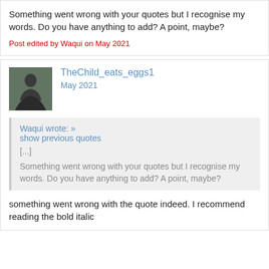Something went wrong with your quotes but I recognise my words. Do you have anything to add? A point, maybe?
Post edited by Waqui on May 2021
TheChild_eats_eggs1
May 2021
Waqui wrote: » show previous quotes
[...]
Something went wrong with your quotes but I recognise my words. Do you have anything to add? A point, maybe?
something went wrong with the quote indeed. I recommend reading the bold italic